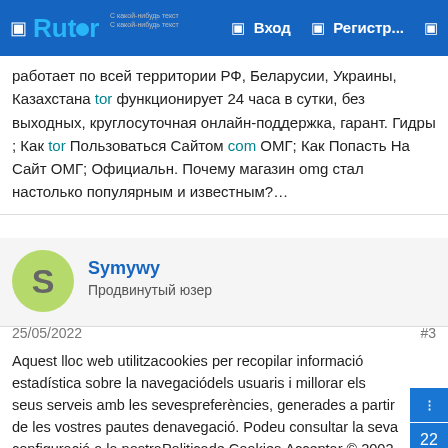Rutor — Вход — Регистр...
работает по всей территории РФ, Беларусии, Украины, Казахстана tor функционирует 24 часа в сутки, без выходных, круглосуточная онлайн-поддержка, гарант. Гидры ; Как tor Пользоваться Сайтом com ОМГ; Как Попасть На Сайт ОМГ; Официальн. Почему магазин omg стал настолько популярным и известным?…
Symywy
Продвинутый юзер
25/05/2022
#3
Aquest lloc web utilitzacookies per recopilar informació estadística sobre la navegaciódels usuaris i millorar els seus serveis amb les sevespreferències, generades a partir de les vostres pautes denavegació. Podeu consultar la seva configuració a la nostraPoliticade Cookies.Acceptar © 2002-22 Fundació Ensenyament i Família | Tel.933876199Avíslegal | Política decookies.